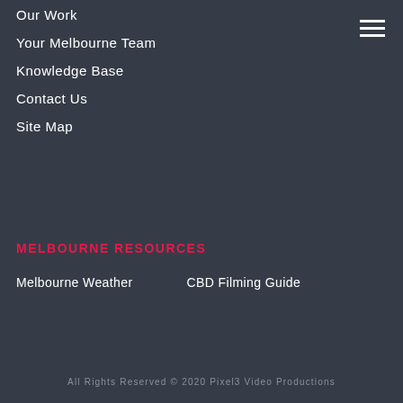Our Work
Your Melbourne Team
Knowledge Base
Contact Us
Site Map
MELBOURNE RESOURCES
Melbourne Weather
CBD Filming Guide
All Rights Reserved © 2020 Pixel3 Video Productions